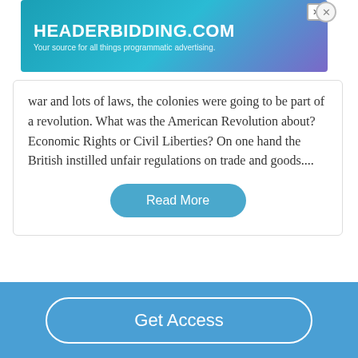[Figure (screenshot): Advertisement banner for HEADERBIDDING.COM with tagline 'Your source for all things programmatic advertising.' on a teal/purple gradient background]
war and lots of laws, the colonies were going to be part of a revolution. What was the American Revolution about? Economic Rights or Civil Liberties? On one hand the British instilled unfair regulations on trade and goods....
Read More
Related Topics
Get Access